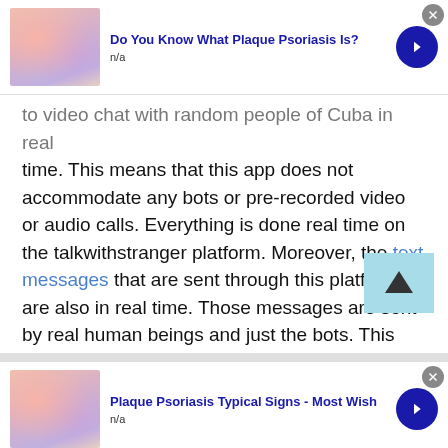[Figure (other): Advertisement banner: Do You Know What Plaque Psoriasis Is? with thumbnail image, n/a label, blue arrow button, and close X]
to video chat with random people of Cuba in real time. This means that this app does not accommodate any bots or pre-recorded video or audio calls. Everything is done real time on the talkwithstranger platform. Moreover, the text messages that are sent through this platform are also in real time. Those messages are sent by real human beings and just the bots. This platform does not accommodate the facility of bots. This is one of the biggest reasons that this platform is one of the best websites if you want to talk to a stranger
[Figure (other): Advertisement banner: Plaque Psoriasis Typical Signs - Most Wish with thumbnail image, n/a label, blue arrow button, and close X]